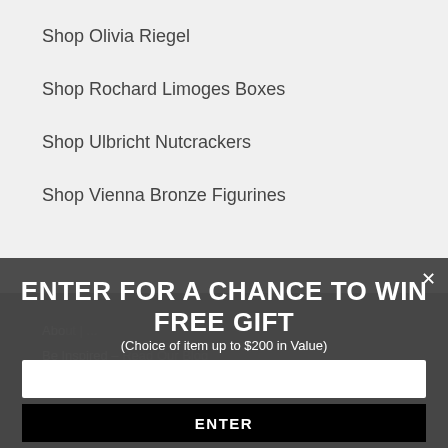Shop Olivia Riegel
Shop Rochard Limoges Boxes
Shop Ulbricht Nutcrackers
Shop Vienna Bronze Figurines
About | ...
Be Inspired – Read Our Blog
ENTER FOR A CHANCE TO WIN FREE GIFT (Choice of item up to $200 in Value)
email address
ENTER